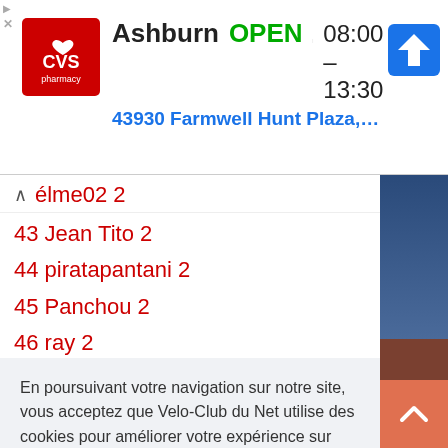[Figure (screenshot): CVS Pharmacy ad banner showing Ashburn location, OPEN status, hours 08:00-13:30, address 43930 Farmwell Hunt Plaza, Ash..., navigation arrow icon]
ˆ  élme02 2
43 Jean Tito 2
44 piratapantani 2
45 Panchou 2
46 ray 2
47 Wadeland 2
48 Frikkadell 2
En poursuivant votre navigation sur notre site, vous acceptez que Velo-Club du Net utilise des cookies pour améliorer votre expérience sur notre site.  En savoir plus
J'ai compris
58 Solui 1